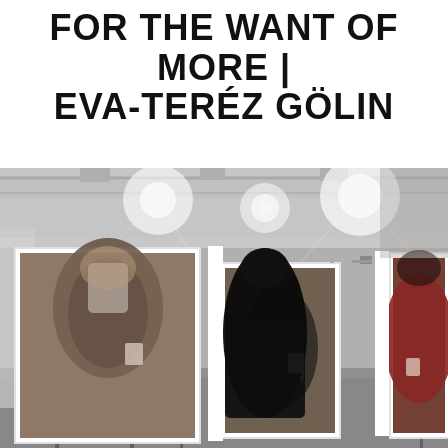FOR THE WANT OF MORE | EVA-TERÉZ GÖLIN
[Figure (photo): Black and white photograph of an art gallery installation. Multiple large portrait photographs are mounted on freestanding white panel frames arranged in a row. The portraits show blurred, out-of-focus figures of people holding coffee cups. A silhouetted figure walks in the foreground. Bright spotlights illuminate the industrial ceiling space.]